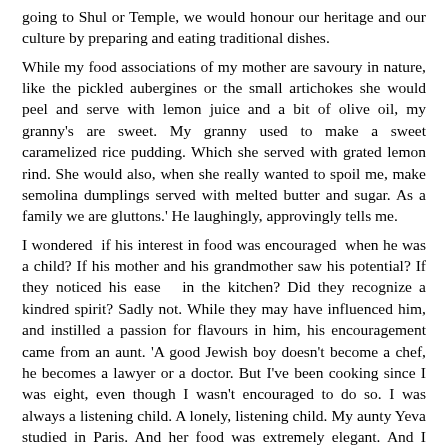going to Shul or Temple, we would honour our heritage and our culture by preparing and eating traditional dishes. While my food associations of my mother are savoury in nature, like the pickled aubergines or the small artichokes she would peel and serve with lemon juice and a bit of olive oil, my granny's are sweet. My granny used to make a sweet caramelized rice pudding. Which she served with grated lemon rind. She would also, when she really wanted to spoil me, make semolina dumplings served with melted butter and sugar. As a family we are gluttons.' He laughingly, approvingly tells me. I wondered if his interest in food was encouraged when he was a child? If his mother and his grandmother saw his potential? If they noticed his ease in the kitchen? Did they recognize a kindred spirit? Sadly not. While they may have influenced him, and instilled a passion for flavours in him, his encouragement came from an aunt. 'A good Jewish boy doesn't become a chef, he becomes a lawyer or a doctor. But I've been cooking since I was eight, even though I wasn't encouraged to do so. I was always a listening child. A lonely, listening child. My aunty Yeva studied in Paris. And her food was extremely elegant. And I think that if I have any elegance in my food, it is thanks to her. She used to take care of me for short periods of time when my mom was ill. And it